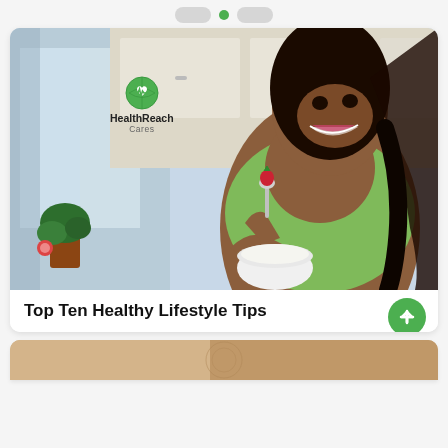HealthReach Cares navigation bar
[Figure (photo): A smiling young woman in a green sports bra holding a white bowl and spoon with a strawberry, in a kitchen setting. HealthReach Cares logo overlaid on the photo.]
Top Ten Healthy Lifestyle Tips
[Figure (photo): Partial peek of a second article card image at the bottom of the screen]